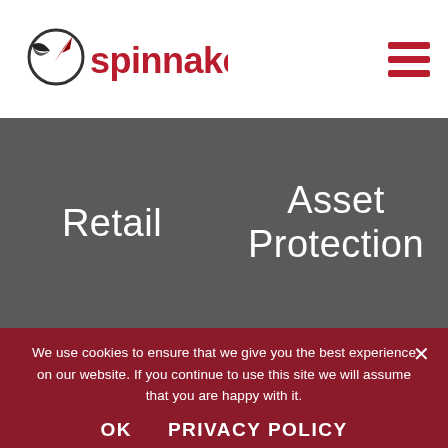[Figure (logo): Spinnaker logo with compass/dial icon in dark color and red text reading 'spinnaker']
Retail
Asset Protection
Spinnaker House, Saltash Parkway
Saltash, Cornwall. PL12 6LF UK
Tel: +44 (0) 1752 850300
We use cookies to ensure that we give you the best experience on our website. If you continue to use this site we will assume that you are happy with it.
OK    PRIVACY POLICY